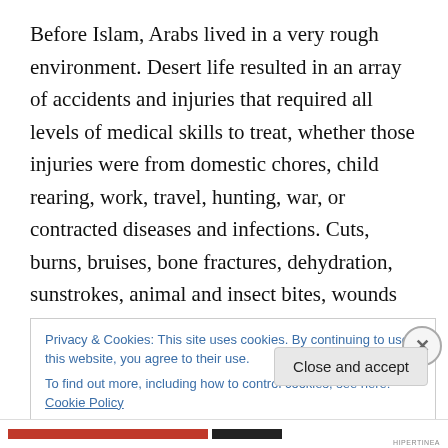Before Islam, Arabs lived in a very rough environment. Desert life resulted in an array of accidents and injuries that required all levels of medical skills to treat, whether those injuries were from domestic chores, child rearing, work, travel, hunting, war, or contracted diseases and infections. Cuts, burns, bruises, bone fractures, dehydration, sunstrokes, animal and insect bites, wounds and infections were all common problems for the native Arabs, who had a wide knowledge of the healing properties of animal extracts, medical plants, and various
Privacy & Cookies: This site uses cookies. By continuing to use this website, you agree to their use.
To find out more, including how to control cookies, see here: Cookie Policy
Close and accept